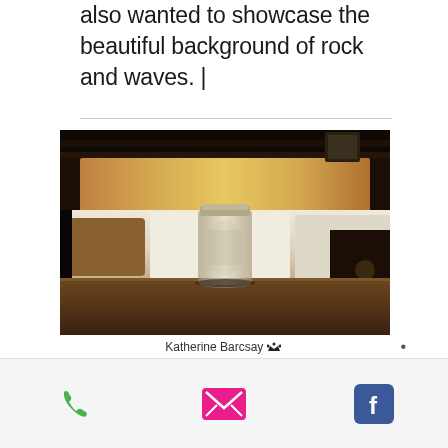also wanted to showcase the beautiful background of rock and waves. |
[Figure (photo): A clear glass mason jar sitting on a dark wooden table in front of a couch with white cushions and a brown/tan pillow, in a warmly lit room with a dark headboard visible in the background.]
Katherine Barcsay 👑 •
[Figure (infographic): Contact bar with three icons: green phone icon, pink/magenta envelope icon, and blue Facebook icon.]